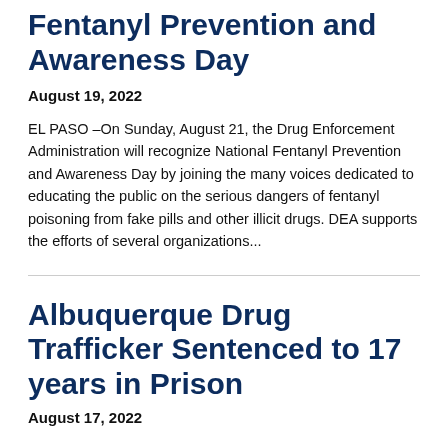DEA Recognizes National Fentanyl Prevention and Awareness Day
August 19, 2022
EL PASO –On Sunday, August 21, the Drug Enforcement Administration will recognize National Fentanyl Prevention and Awareness Day by joining the many voices dedicated to educating the public on the serious dangers of fentanyl poisoning from fake pills and other illicit drugs. DEA supports the efforts of several organizations...
Albuquerque Drug Trafficker Sentenced to 17 years in Prison
August 17, 2022